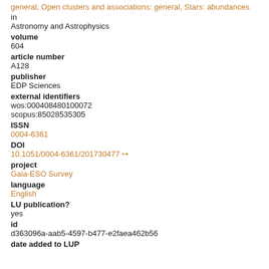general, Open clusters and associations: general, Stars: abundances
in
Astronomy and Astrophysics
volume
604
article number
A128
publisher
EDP Sciences
external identifiers
wos:000408480100072
scopus:85028535305
ISSN
0004-6361
DOI
10.1051/0004-6361/201730477
project
Gaia-ESO Survey
language
English
LU publication?
yes
id
d363096a-aab5-4597-b477-e2faea462b56
date added to LUP